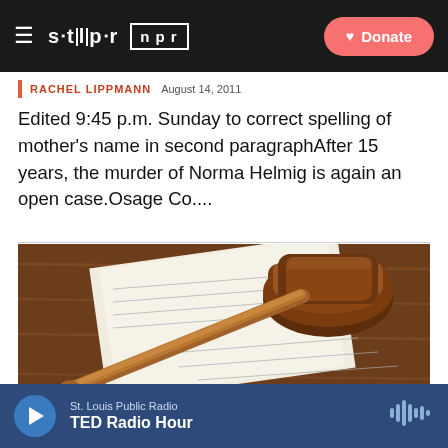STLPR NPR | Donate
RACHEL LIPPMANN  August 14, 2011
Edited 9:45 p.m. Sunday to correct spelling of mother's name in second paragraphAfter 15 years, the murder of Norma Helmig is again an open case.Osage Co....
[Figure (photo): A wooden judge's gavel resting on legal papers on a wooden surface]
St. Louis Public Radio
TED Radio Hour